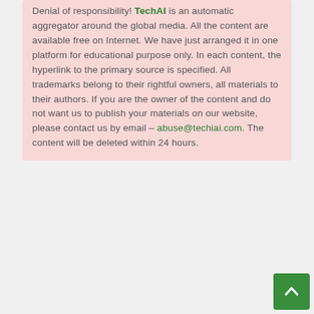Denial of responsibility! TechAI is an automatic aggregator around the global media. All the content are available free on Internet. We have just arranged it in one platform for educational purpose only. In each content, the hyperlink to the primary source is specified. All trademarks belong to their rightful owners, all materials to their authors. If you are the owner of the content and do not want us to publish your materials on our website, please contact us by email – abuse@techiai.com. The content will be deleted within 24 hours.